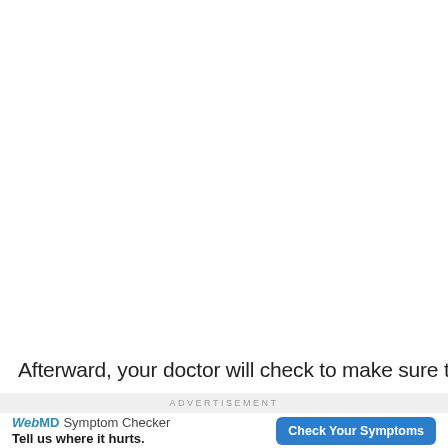Afterward, your doctor will check to make sure that the
ADVERTISEMENT
[Figure (other): WebMD Symptom Checker advertisement banner with logo, tagline 'Tell us where it hurts.' and a 'Check Your Symptoms' button]